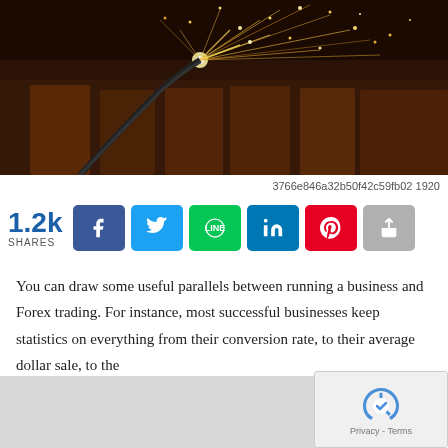[Figure (photo): Industrial metal cutting or welding with bright sparks flying, rusty metal surface in background]
3766e846a32b50f42c59fb02 1920
[Figure (infographic): Social share bar showing 1.2k shares with buttons for Facebook, Twitter, LINE, LinkedIn, Pinterest, and a generic share button]
You can draw some useful parallels between running a business and Forex trading. For instance, most successful businesses keep statistics on everything from their conversion rate, to their average dollar sale, to the